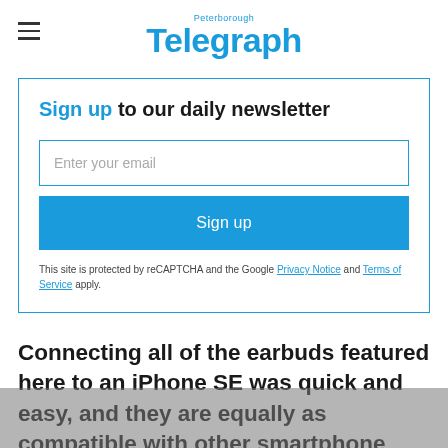Peterborough Telegraph
Sign up to our daily newsletter
Enter your email
Sign up
This site is protected by reCAPTCHA and the Google Privacy Notice and Terms of Service apply.
Connecting all of the earbuds featured here to an iPhone SE was quick and easy, and they are equally as compatible with other smartphone brands, tablets or computers with Bluetooth